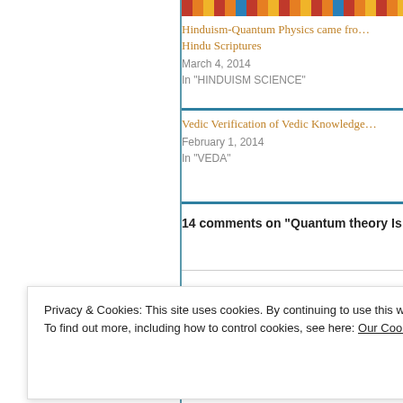[Figure (photo): Colorful banner/header image strip with text about speed of light in Hindu knowledge]
Hinduism-Quantum Physics came from Hindu Scriptures
March 4, 2014
In "HINDUISM SCIENCE"
Vedic Verification of Vedic Knowledge
February 1, 2014
In "VEDA"
14 comments on “Quantum theory Is
Privacy & Cookies: This site uses cookies. By continuing to use this website, you agree to their use.
To find out more, including how to control cookies, see here: Our Cookie Policy
Close and accept